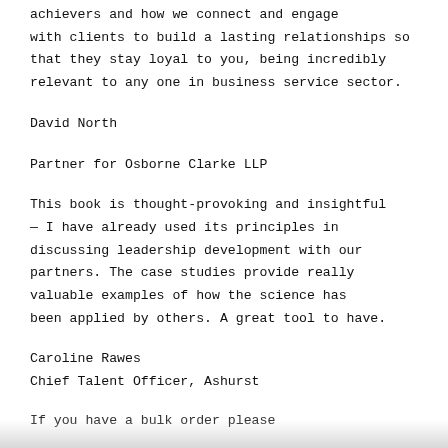achievers and how we connect and engage with clients to build a lasting relationships so that they stay loyal to you, being incredibly relevant to any one in business service sector.
David North
Partner for Osborne Clarke LLP
This book is thought-provoking and insightful — I have already used its principles in discussing leadership development with our partners. The case studies provide really valuable examples of how the science has been applied by others. A great tool to have.
Caroline Rawes
Chief Talent Officer, Ashurst
If you have a bulk order please